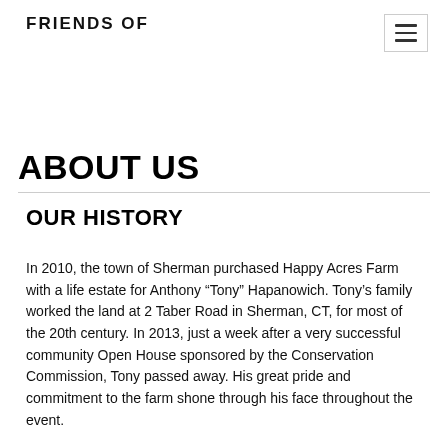FRIENDS OF
ABOUT US
OUR HISTORY
In 2010, the town of Sherman purchased Happy Acres Farm with a life estate for Anthony “Tony” Hapanowich. Tony’s family worked the land at 2 Taber Road in Sherman, CT, for most of the 20th century. In 2013, just a week after a very successful community Open House sponsored by the Conservation Commission, Tony passed away. His great pride and commitment to the farm shone through his face throughout the event.